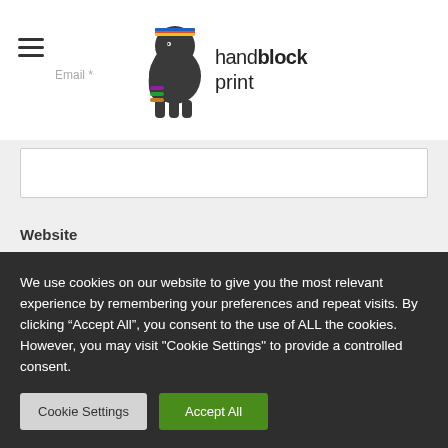handblock print
Email *
Website
Save my name, email, and website in this browser for
We use cookies on our website to give you the most relevant experience by remembering your preferences and repeat visits. By clicking “Accept All”, you consent to the use of ALL the cookies. However, you may visit "Cookie Settings" to provide a controlled consent.
Cookie Settings
Accept All